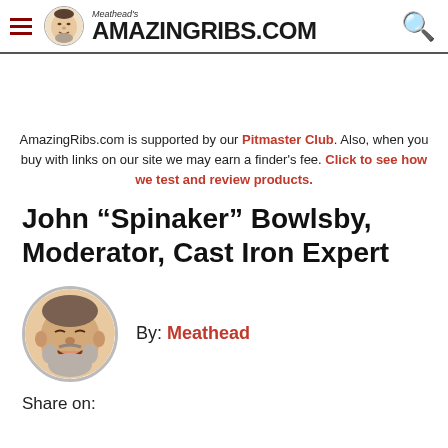Meathead's AmazingRibs.com
AmazingRibs.com is supported by our Pitmaster Club. Also, when you buy with links on our site we may earn a finder's fee. Click to see how we test and review products.
John “Spinaker” Bowlsby, Moderator, Cast Iron Expert
By: Meathead
Share on: